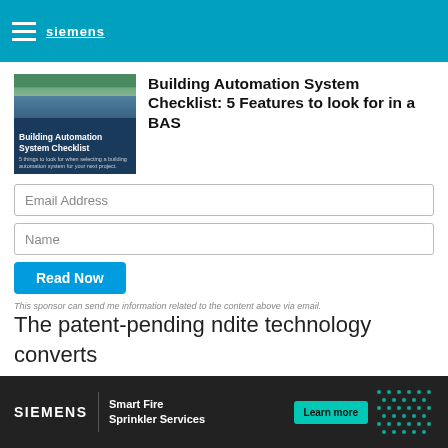Siemens
Building Automation System Checklist: 5 Features to look for in a BAS
[Figure (photo): Thumbnail image showing a building with trees and an overlay reading 'Building Automation System Checklist']
Email Address
Name
Read Now
This sponsor can send me information related to the content above via email.
The patent-pending ndite technology converts restroom lighting to energy, which activates the flow
[Figure (infographic): Siemens Smart Fire Sprinkler Services advertisement banner with teal button 'Learn more' and decorative dot pattern]